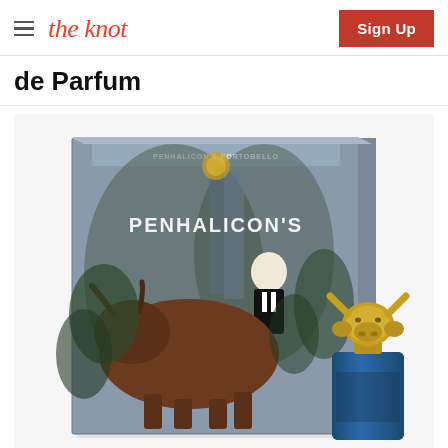the knot | Sign Up
de Parfum
[Figure (photo): Product photo of Penhaligan's perfume box with illustrated bull and suited figure design, alongside a perfume bottle with a gold bull-head cap and blue base.]